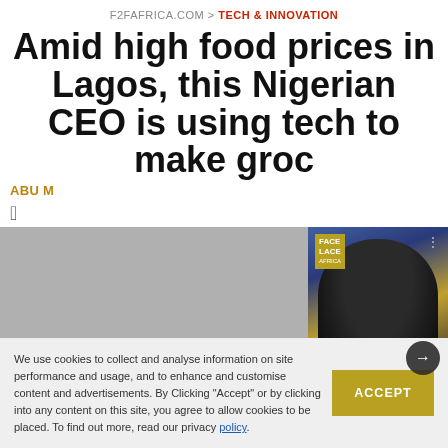F2FAFRICA.COM > TECH & INNOVATION
Amid high food prices in Lagos, this Nigerian CEO is using tech to make groc…
ABU M…
[Figure (photo): Portrait of a Black man with dreadlocks smiling, overlaid with a related article card showing 'These are the Black celebrities with the most valuable']
These are the Black celebrities with the most valuable
We use cookies to collect and analyse information on site performance and usage, and to enhance and customise content and advertisements. By Clicking "Accept" or by clicking into any content on this site, you agree to allow cookies to be placed. To find out more, read our privacy policy.